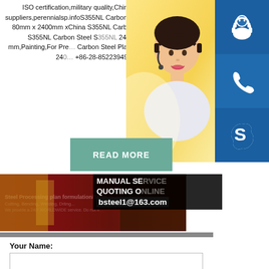ISO certification,military quality,China's largest steel suppliers,perennialsp.infoS355NL Carbon Steel Plate EN10025 80mm x 2400mm xChina S355NL Carbon Steel Plate Offers EN10025 S355NL Carbon Steel S355NL 2400 mm x 8003 mm,Painting,For Pre Carbon Steel Plate EN10025 80mm x 240... +86-28-85223949,+
[Figure (photo): Asian woman with headset, customer service representative, yellow/warm background]
[Figure (infographic): Three blue icon boxes on right sidebar: headset/support icon, phone icon, Skype icon]
READ MORE
[Figure (photo): Dark red and gold industrial steel processing banner with text: Steel Processing plan formulation/Steel Cutting, Bending, Welding, Drling... We provide a 24/7 WORLDWIDE service. Do not h...]
MANUAL SE... QUOTING O... bsteel1@163.com
Your Name:
Your Email: